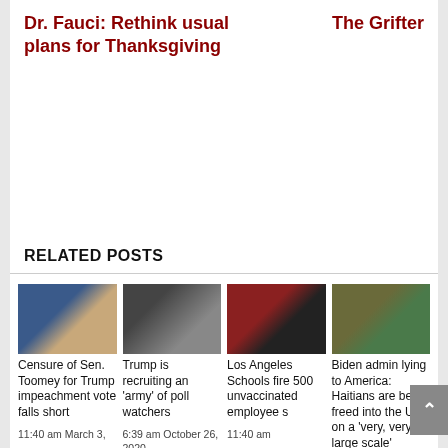Dr. Fauci: Rethink usual plans for Thanksgiving
The Grifter
RELATED POSTS
[Figure (photo): Man in front of American flag]
Censure of Sen. Toomey for Trump impeachment vote falls short
11:40 am March 3,
[Figure (photo): People at desks/computers]
Trump is recruiting an 'army' of poll watchers
6:39 am October 26, 2020
[Figure (photo): Illustration of organs and running figure]
Los Angeles Schools fire 500 unvaccinated employees
11:40 am
[Figure (photo): Aerial view of road with vehicles]
Biden admin lying to America: Haitians are being freed into the US on a 'very, very large scale'